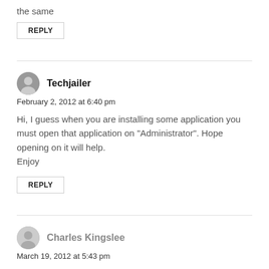the same
REPLY
Techjailer
February 2, 2012 at 6:40 pm
Hi, I guess when you are installing some application you must open that application on "Administrator". Hope opening on it will help.
Enjoy
REPLY
Charles Kingslee
March 19, 2012 at 5:43 pm
hi,